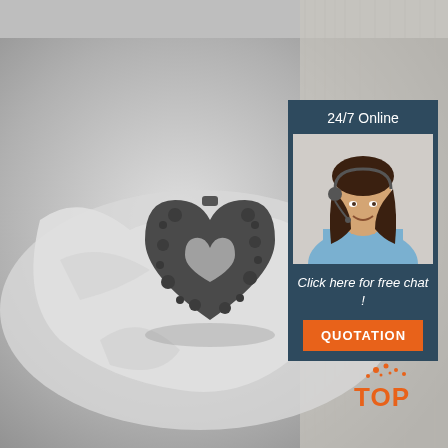[Figure (photo): Black and white photo of a decorative heart-shaped metal trinket box with floral embossing, placed on crumpled tissue paper. Background shows grey fabric texture.]
[Figure (infographic): Dark blue sidebar panel with '24/7 Online' heading, photo of smiling female customer service agent wearing headset, italic text 'Click here for free chat!', and orange 'QUOTATION' button.]
[Figure (logo): Orange 'TOP' logo with dot splash design in bottom right corner.]